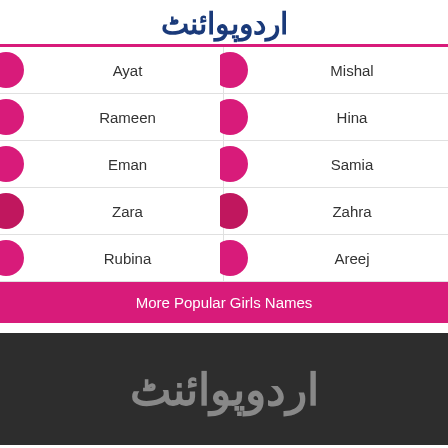اردوپوائنٹ
| Name (Left) | Name (Right) |
| --- | --- |
| Ayat | Mishal |
| Rameen | Hina |
| Eman | Samia |
| Zara | Zahra |
| Rubina | Areej |
More Popular Girls Names
[Figure (logo): Urdu Point logo in grey/silver on dark background]